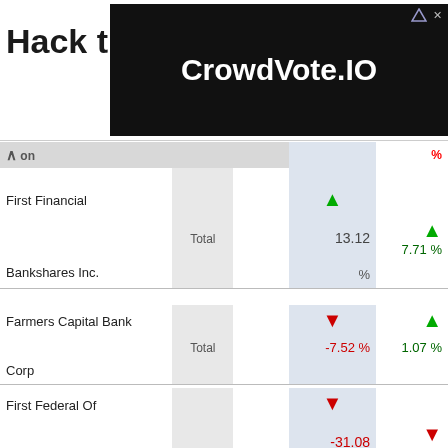[Figure (other): Advertisement banner: 'Hack the Political System.' with CrowdVote.IO logo on black background]
|  |  |  | % |
| --- | --- | --- | --- |
| First Financial |  | Total | 13.12
↑
% | ↑
7.71 % |
| Bankshares Inc. |  |  |  |  |
| Farmers Capital Bank |  | Total | ↓
-7.52 % | ↑
1.07 % |
| Corp |  |  |  |  |
| First Federal Of |  | Total | ↓
-31.08
% | ↓
-2.22 % |
| Northern Michigan |  |  |  |  |